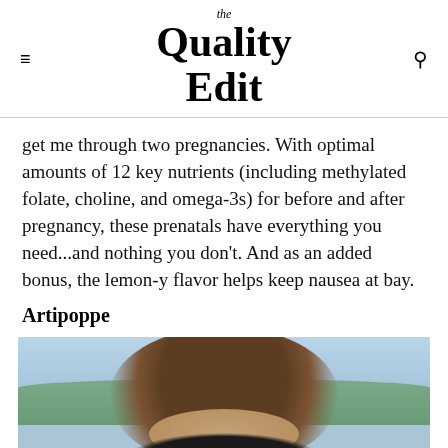the Quality Edit
get me through two pregnancies. With optimal amounts of 12 key nutrients (including methylated folate, choline, and omega-3s) for before and after pregnancy, these prenatals have everything you need...and nothing you don't. And as an added bonus, the lemon-y flavor helps keep nausea at bay.
Artipoppe
[Figure (photo): Photo of a person wearing dark sunglasses outdoors with mountains and greenery in background, cropped at eye level showing top of head and hair]